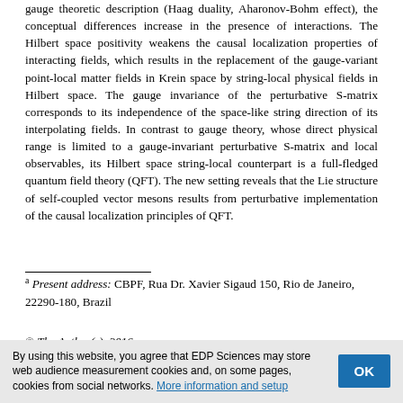gauge theoretic description (Haag duality, Aharonov-Bohm effect), the conceptual differences increase in the presence of interactions. The Hilbert space positivity weakens the causal localization properties of interacting fields, which results in the replacement of the gauge-variant point-local matter fields in Krein space by string-local physical fields in Hilbert space. The gauge invariance of the perturbative S-matrix corresponds to its independence of the space-like string direction of its interpolating fields. In contrast to gauge theory, whose direct physical range is limited to a gauge-invariant perturbative S-matrix and local observables, its Hilbert space string-local counterpart is a full-fledged quantum field theory (QFT). The new setting reveals that the Lie structure of self-coupled vector mesons results from perturbative implementation of the causal localization principles of QFT.
a Present address: CBPF, Rua Dr. Xavier Sigaud 150, Rio de Janeiro, 22290-180, Brazil
© The Author(s), 2016
Download this article in PDF format
By using this website, you agree that EDP Sciences may store web audience measurement cookies and, on some pages, cookies from social networks. More information and setup